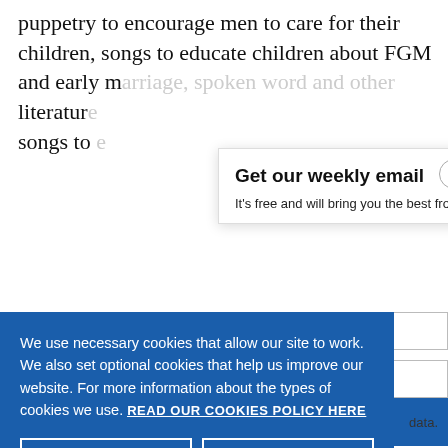puppetry to encourage men to care for their children, songs to educate children about FGM and early marriage, spoken word and other literature songs to
Get our weekly email
It's free and will bring you the best from
We use necessary cookies that allow our site to work. We also set optional cookies that help us improve our website. For more information about the types of cookies we use. READ OUR COOKIES POLICY HERE
COOKIE SETTINGS
ALLOW ALL COOKIES
data.